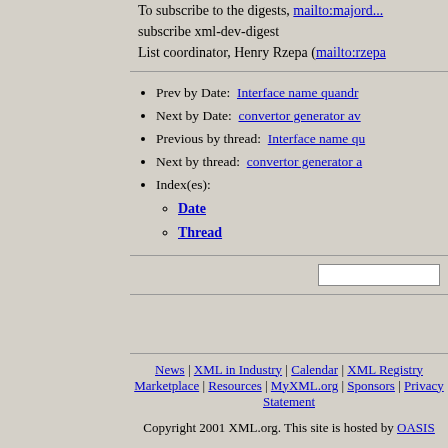To subscribe to the digest, mailto:majord... subscribe xml-dev-digest List coordinator, Henry Rzepa (mailto:rzepa...
Prev by Date: Interface name quandr...
Next by Date: convertor generator av...
Previous by thread: Interface name qu...
Next by thread: convertor generator a...
Index(es): Date Thread
News | XML in Industry | Calendar | XML Registry Marketplace | Resources | MyXML.org | Sponsors | Privacy Statement
Copyright 2001 XML.org. This site is hosted by OASIS